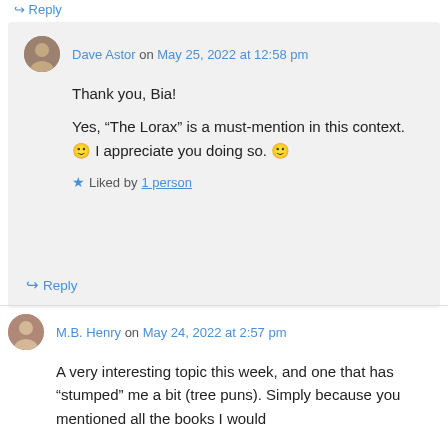↪ Reply
Dave Astor on May 25, 2022 at 12:58 pm
Thank you, Bia!
Yes, “The Lorax” is a must-mention in this context. 🙂 I appreciate you doing so. 🙂
★ Liked by 1 person
↪ Reply
M.B. Henry on May 24, 2022 at 2:57 pm
A very interesting topic this week, and one that has “stumped” me a bit (tree puns). Simply because you mentioned all the books I would